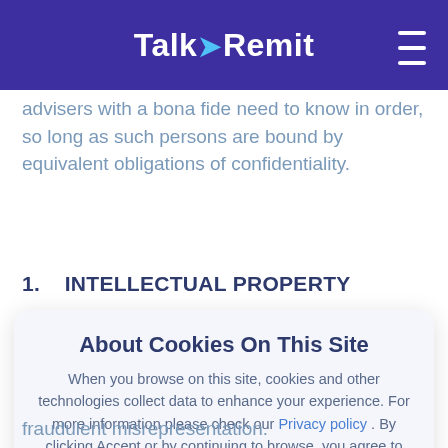TalkRemit
advisers with a bona fide need to know in order, so long as such persons are bound by equivalent obligations of confidentiality.
1.   INTELLECTUAL PROPERTY
[Figure (screenshot): Cookie consent modal overlay with title 'About Cookies On This Site', body text about cookies and privacy policy link, and an Accept button.]
fraudulent misrepresentation.